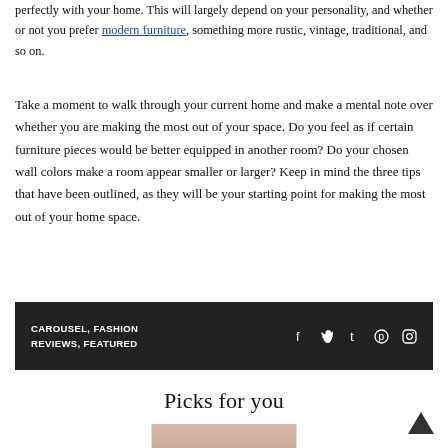perfectly with your home. This will largely depend on your personality, and whether or not you prefer modern furniture, something more rustic, vintage, traditional, and so on.
Take a moment to walk through your current home and make a mental note over whether you are making the most out of your space. Do you feel as if certain furniture pieces would be better equipped in another room? Do your chosen wall colors make a room appear smaller or larger? Keep in mind the three tips that have been outlined, as they will be your starting point for making the most out of your home space.
CAROUSEL, FASHION REVIEWS, FEATURED
Picks for you
[Figure (photo): Partial view of a photo strip at the bottom of the page]